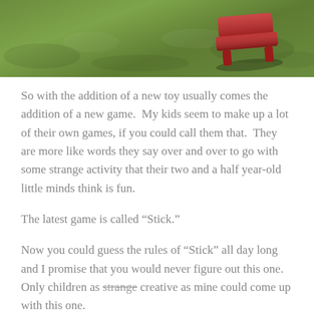[Figure (photo): Partial photo showing green grass with a red toy (appears to be a toy chair or block) sitting on it. Image is cropped showing only the bottom portion.]
So with the addition of a new toy usually comes the addition of a new game.  My kids seem to make up a lot of their own games, if you could call them that.  They are more like words they say over and over to go with some strange activity that their two and a half year-old little minds think is fun.
The latest game is called “Stick.”
Now you could guess the rules of “Stick” all day long and I promise that you would never figure out this one.  Only children as strange creative as mine could come up with this one.